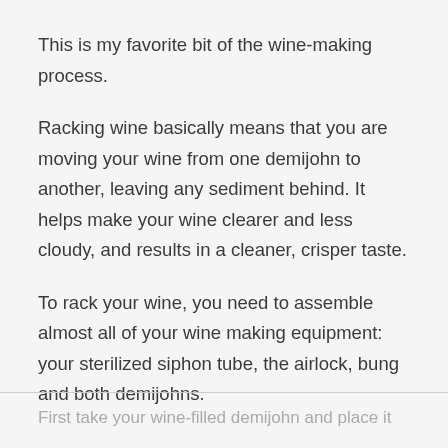This is my favorite bit of the wine-making process.
Racking wine basically means that you are moving your wine from one demijohn to another, leaving any sediment behind. It helps make your wine clearer and less cloudy, and results in a cleaner, crisper taste.
To rack your wine, you need to assemble almost all of your wine making equipment: your sterilized siphon tube, the airlock, bung and both demijohns.
First take your wine-filled demijohn and place it